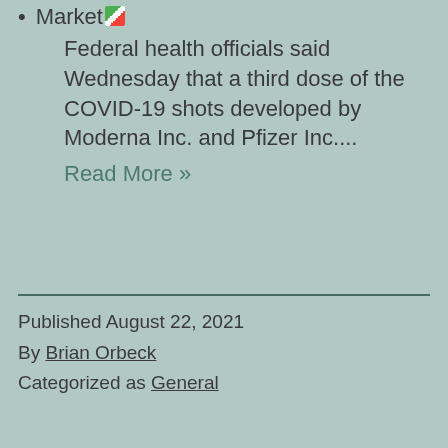Market
Federal health officials said Wednesday that a third dose of the COVID-19 shots developed by Moderna Inc. and Pfizer Inc....
Read More »
Published August 22, 2021
By Brian Orbeck
Categorized as General